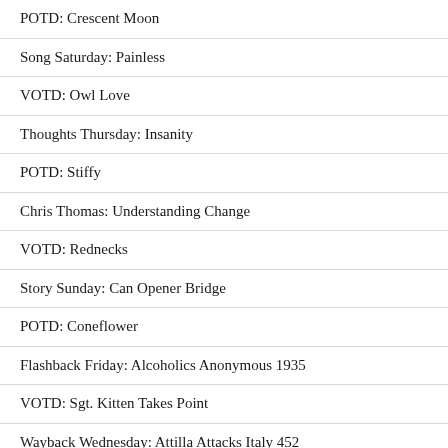POTD: Crescent Moon
Song Saturday: Painless
VOTD: Owl Love
Thoughts Thursday: Insanity
POTD: Stiffy
Chris Thomas: Understanding Change
VOTD: Rednecks
Story Sunday: Can Opener Bridge
POTD: Coneflower
Flashback Friday: Alcoholics Anonymous 1935
VOTD: Sgt. Kitten Takes Point
Wayback Wednesday: Attilla Attacks Italy 452